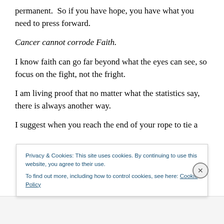permanent.  So if you have hope, you have what you need to press forward.
Cancer cannot corrode Faith.
I know faith can go far beyond what the eyes can see, so focus on the fight, not the fright.
I am living proof that no matter what the statistics say, there is always another way.
I suggest when you reach the end of your rope to tie a [knot and hang on…]
Privacy & Cookies: This site uses cookies. By continuing to use this website, you agree to their use.
To find out more, including how to control cookies, see here: Cookie Policy
Close and accept